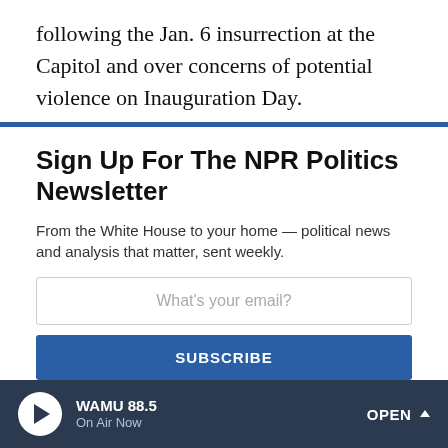following the Jan. 6 insurrection at the Capitol and over concerns of potential violence on Inauguration Day.
capitol police
[Figure (infographic): Social share icons: Facebook, Twitter, Flipboard, Email]
Sign Up For The NPR Politics Newsletter
From the White House to your home — political news and analysis that matter, sent weekly.
What's your email?
SUBSCRIBE
WAMU 88.5 On Air Now OPEN